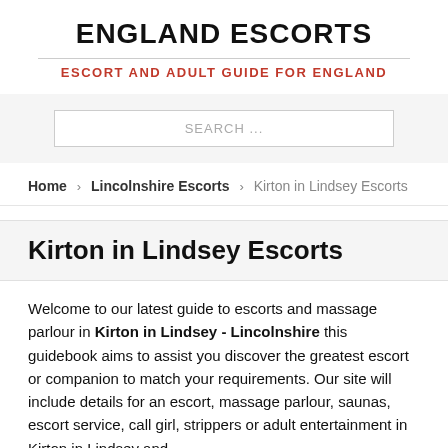ENGLAND ESCORTS
ESCORT AND ADULT GUIDE FOR ENGLAND
SEARCH ...
Home › Lincolnshire Escorts › Kirton in Lindsey Escorts
Kirton in Lindsey Escorts
Welcome to our latest guide to escorts and massage parlour in Kirton in Lindsey - Lincolnshire this guidebook aims to assist you discover the greatest escort or companion to match your requirements. Our site will include details for an escort, massage parlour, saunas, escort service, call girl, strippers or adult entertainment in Kirton in Lindsey and surrounding areas.